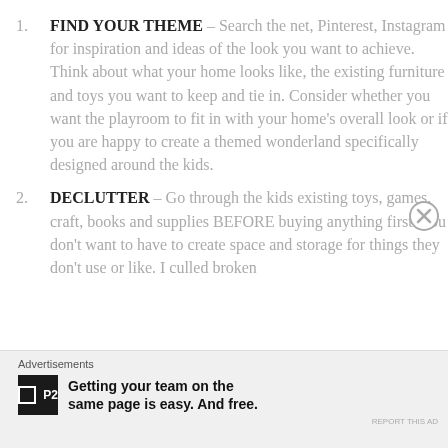FIND YOUR THEME – Search the net, Pinterest, Instagram for inspiration and ideas of the look you want to achieve. Think about what your home looks like, the existing furniture and toys you want to keep and tie in. Consider whether you want the playroom to fit in with your home's overall look or if you are happy to create a themed wonderland specifically designed around the kids.
DECLUTTER – Go through the kids existing toys, games, craft, books and supplies BEFORE buying anything first. You don't want to have to create space and storage for things they don't use or like. I culled broken
Advertisements
Getting your team on the same page is easy. And free.